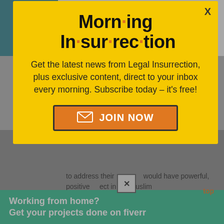[Figure (screenshot): Accessibility icon (wheelchair symbol) on teal background in top-left corner]
punishment for blasphemy.
It is true that blasphemy is a religious concept. It is also true that the present United States administration has...
[Figure (infographic): Yellow modal popup for Morning Insurrection newsletter subscription with close button, description text, and JOIN NOW orange button]
to address their... would have powerful, positive effect in the Muslim...
[Figure (screenshot): Green Fiverr advertisement banner: Working from home? Get your projects done on fiverr]